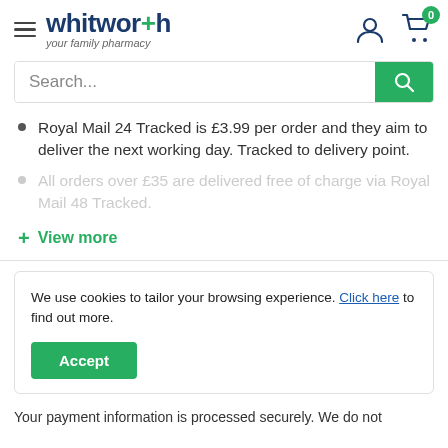whitworth your family pharmacy
Search...
Royal Mail 24 Tracked is £3.99 per order and they aim to deliver the next working day. Tracked to delivery point.
All orders over £35 are delivered free of charge via Royal Mail 48 Tracked.
+ View more
We use cookies to tailor your browsing experience. Click here to find out more.
Accept
Your payment information is processed securely. We do not